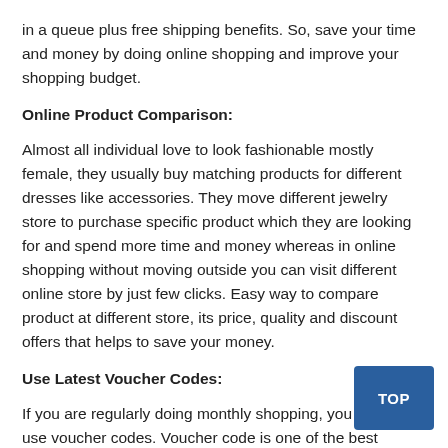in a queue plus free shipping benefits. So, save your time and money by doing online shopping and improve your shopping budget.
Online Product Comparison:
Almost all individual love to look fashionable mostly female, they usually buy matching products for different dresses like accessories. They move different jewelry store to purchase specific product which they are looking for and spend more time and money whereas in online shopping without moving outside you can visit different online store by just few clicks. Easy way to compare product at different store, its price, quality and discount offers that helps to save your money.
Use Latest Voucher Codes:
If you are regularly doing monthly shopping, you should use voucher codes. Voucher code is one of the best resources that help to save your money when you shop. It reduces the total cost of the product and offer you discounted price. Become smart shopper and subscribe different voucher site to avail